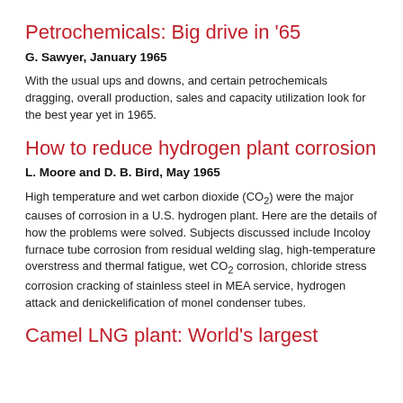Petrochemicals: Big drive in ’65
G. Sawyer, January 1965
With the usual ups and downs, and certain petrochemicals dragging, overall production, sales and capacity utilization look for the best year yet in 1965.
How to reduce hydrogen plant corrosion
L. Moore and D. B. Bird, May 1965
High temperature and wet carbon dioxide (CO₂) were the major causes of corrosion in a U.S. hydrogen plant. Here are the details of how the problems were solved. Subjects discussed include Incoloy furnace tube corrosion from residual welding slag, high-temperature overstress and thermal fatigue, wet CO₂ corrosion, chloride stress corrosion cracking of stainless steel in MEA service, hydrogen attack and denickelification of monel condenser tubes.
Camel LNG plant: World’s largest